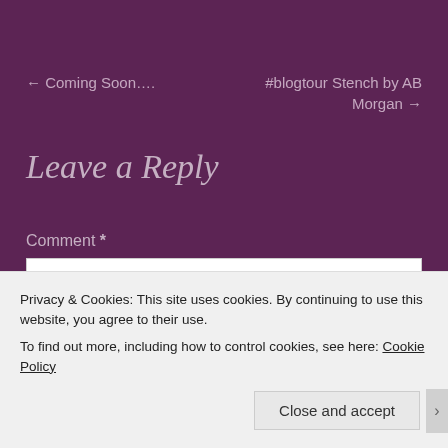← Coming Soon….
#blogtour Stench by AB Morgan →
Leave a Reply
Comment *
Privacy & Cookies: This site uses cookies. By continuing to use this website, you agree to their use.
To find out more, including how to control cookies, see here: Cookie Policy
Close and accept